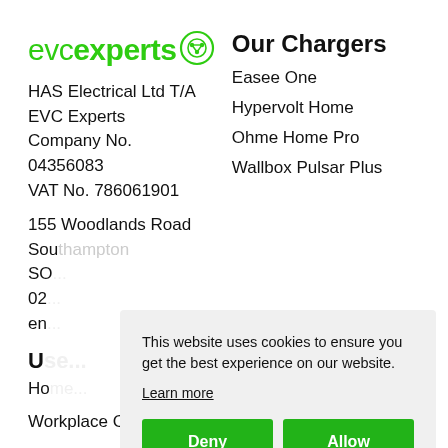[Figure (logo): EVC Experts logo — green text 'evcexperts' with a circular EV plug icon]
HAS Electrical Ltd T/A EVC Experts
Company No. 04356083
VAT No. 786061901
155 Woodlands Road
Sou[thampton]
SO[...]
02[...]
en[...]
Our Chargers
Easee One
Hypervolt Home
Ohme Home Pro
Wallbox Pulsar Plus
U[se...]
Ho[me...]
Workplace Charging
This website uses cookies to ensure you get the best experience on our website.
Learn more
Deny | Allow